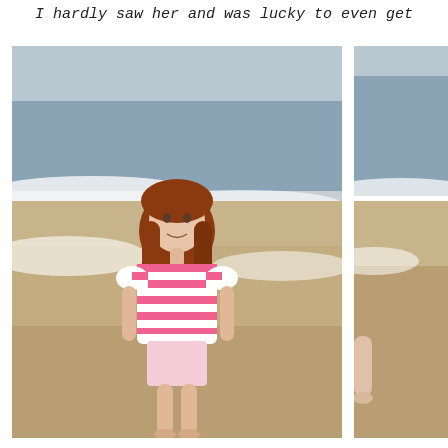I hardly saw her and was lucky to even get
[Figure (photo): Young girl with red/auburn hair wearing a pink and white striped t-shirt and floral shorts, standing on a sandy beach with ocean waves in the background, looking at the camera]
[Figure (photo): Partial view of another beach photo showing sandy beach with ocean waves, with a child's arm/hand visible at the right edge]